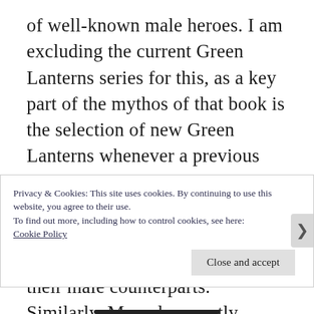of well-known male heroes. I am excluding the current Green Lanterns series for this, as a key part of the mythos of that book is the selection of new Green Lanterns whenever a previous Lantern has died. DC's titles include Batgirl, Batwoman, Supergirl and Superwoman, all of who have powers similar to their male counterparts. Similarly, Marvel currently publishes Silk and Spider-Gwen, who are both variants on Spider-Man from different universes, Gwen-Pool, who is somewhat like a
Privacy & Cookies: This site uses cookies. By continuing to use this website, you agree to their use.
To find out more, including how to control cookies, see here: Cookie Policy
Close and accept